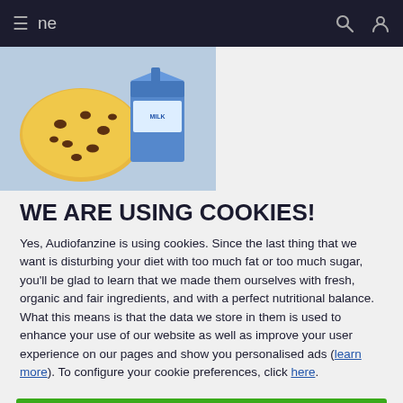≡  ne  🔍  👤
[Figure (illustration): Cookie image: a chocolate chip cookie and a blue milk carton/box on a light blue background]
WE ARE USING COOKIES!
Yes, Audiofanzine is using cookies. Since the last thing that we want is disturbing your diet with too much fat or too much sugar, you'll be glad to learn that we made them ourselves with fresh, organic and fair ingredients, and with a perfect nutritional balance. What this means is that the data we store in them is used to enhance your use of our website as well as improve your user experience on our pages and show you personalised ads (learn more). To configure your cookie preferences, click here.
ACCEPT